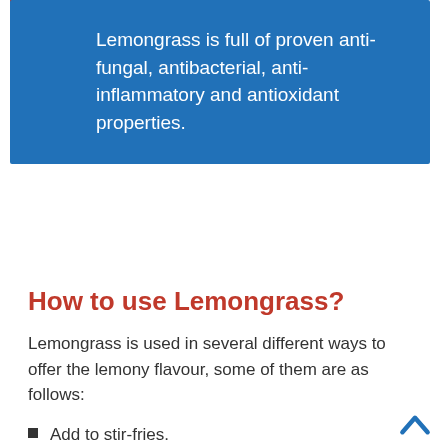Lemongrass is full of proven anti-fungal, antibacterial, anti-inflammatory and antioxidant properties.
How to use Lemongrass?
Lemongrass is used in several different ways to offer the lemony flavour, some of them are as follows:
Add to stir-fries.
Lemongrass Oil.
Add to salads or soups.
Make Lemongrass Ice-Tea.
Prepare Green-Curry Thai Paste.
Infused in liquid for steaming seafood.
Pairing with other spices and ingredients.